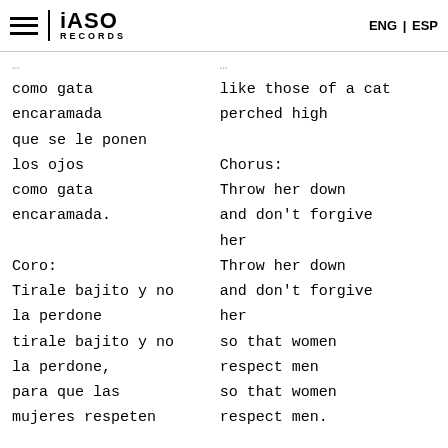iASO RECORDS | ENG | ESP
como gata encaramada que se le ponen los ojos como gata encaramada. Coro: Tirale bajito y no la perdone tirale bajito y no la perdone, para que las mujeres respeten
like those of a cat perched high Chorus: Throw her down and don't forgive her Throw her down and don't forgive her so that women respect men so that women respect men.